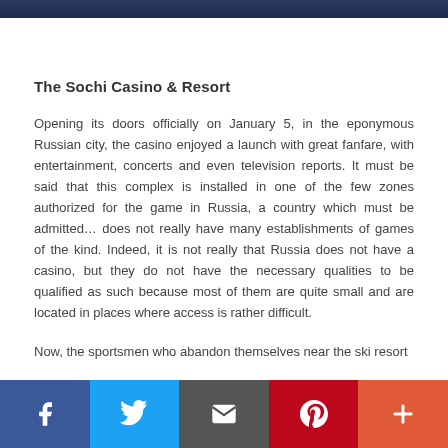[Figure (photo): Dark blue/navy header image bar at the top of the page]
The Sochi Casino & Resort
Opening its doors officially on January 5, in the eponymous Russian city, the casino enjoyed a launch with great fanfare, with entertainment, concerts and even television reports. It must be said that this complex is installed in one of the few zones authorized for the game in Russia, a country which must be admitted… does not really have many establishments of games of the kind. Indeed, it is not really that Russia does not have a casino, but they do not have the necessary qualities to be qualified as such because most of them are quite small and are located in places where access is rather difficult.
Now, the sportsmen who abandon themselves near the ski resort
[Figure (infographic): Social media share bar with Facebook, Twitter, Email, Pinterest, and More (+) buttons]